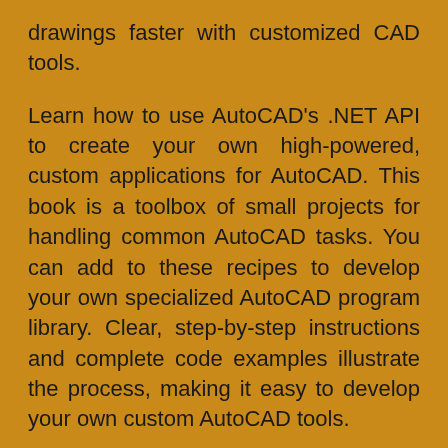drawings faster with customized CAD tools.
Learn how to use AutoCAD's .NET API to create your own high-powered, custom applications for AutoCAD. This book is a toolbox of small projects for handling common AutoCAD tasks. You can add to these recipes to develop your own specialized AutoCAD program library. Clear, step-by-step instructions and complete code examples illustrate the process, making it easy to develop your own custom AutoCAD tools.
Giving you the building blocks of AutoCAD application development, you'll learn to create compact user interfaces for your AutoCAD plugins and add command buttons to the ribbon interface. Next, you'll create programs to insert